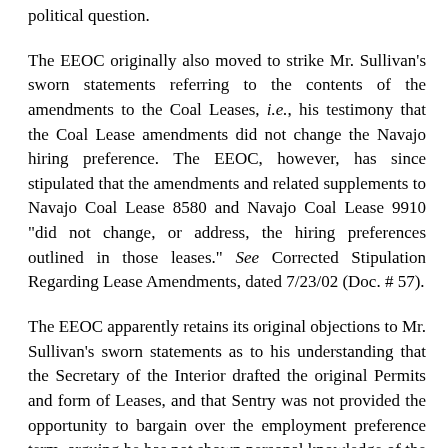political question.
The EEOC originally also moved to strike Mr. Sullivan's sworn statements referring to the contents of the amendments to the Coal Leases, i.e., his testimony that the Coal Lease amendments did not change the Navajo hiring preference. The EEOC, however, has since stipulated that the amendments and related supplements to Navajo Coal Lease 8580 and Navajo Coal Lease 9910 "did not change, or address, the hiring preferences outlined in those leases." See Corrected Stipulation Regarding Lease Amendments, dated 7/23/02 (Doc. # 57).
The EEOC apparently retains its original objections to Mr. Sullivan's sworn statements as to his understanding that the Secretary of the Interior drafted the original Permits and form of Leases, and that Sentry was not provided the opportunity to bargain over the employment preference term, arguing he has not shown personal knowledge of the negotiations. The EEOC also moved to strike Attorney Young's statement that it was his understanding that the Navajo employment